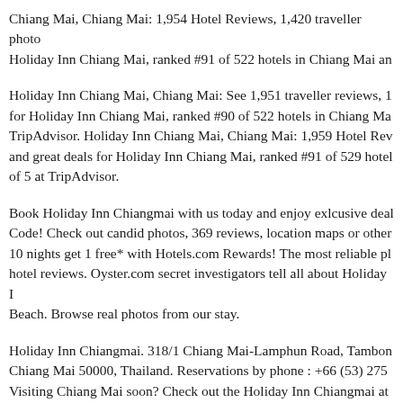Chiang Mai, Chiang Mai: 1,954 Hotel Reviews, 1,420 traveller photos Holiday Inn Chiang Mai, ranked #91 of 522 hotels in Chiang Mai an
Holiday Inn Chiang Mai, Chiang Mai: See 1,951 traveller reviews, 1 for Holiday Inn Chiang Mai, ranked #90 of 522 hotels in Chiang Ma TripAdvisor. Holiday Inn Chiang Mai, Chiang Mai: 1,959 Hotel Rev and great deals for Holiday Inn Chiang Mai, ranked #91 of 529 hotel of 5 at TripAdvisor.
Book Holiday Inn Chiangmai with us today and enjoy exlcusive deal Code! Check out candid photos, 369 reviews, location maps or other 10 nights get 1 free* with Hotels.com Rewards! The most reliable pl hotel reviews. Oyster.com secret investigators tell all about Holiday I Beach. Browse real photos from our stay.
Holiday Inn Chiangmai. 318/1 Chiang Mai-Lamphun Road, Tambon Chiang Mai 50000, Thailand. Reservations by phone : +66 (53) 275 Visiting Chiang Mai soon? Check out the Holiday Inn Chiangmai at info you need to help you book. Book now to earn free nights for futu